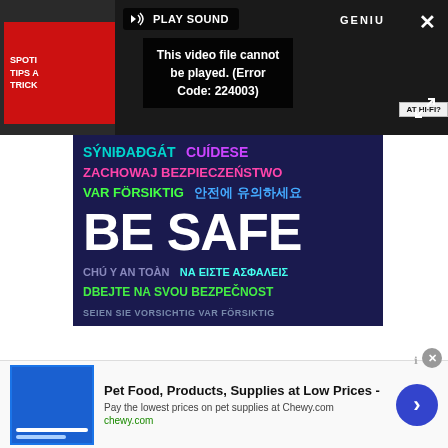[Figure (screenshot): Video player showing error message 'This video file cannot be played. (Error Code: 224003)' with PLAY SOUND button, Spotify Tips and Tricks thumbnail on left, GENIUS label on right side]
PLAY SOUND
This video file cannot be played. (Error Code: 224003)
[Figure (infographic): Dark blue 'BE SAFE' multilingual safety poster with text in multiple languages: SÝNIÐ AÐGÁT (cyan), CUÍDESE (purple), ZACHOWAJ BEZPIECZEŃSTWO (pink), VAR FÖRSIKTIG (green), 안전에 유의하세요 (blue), BE SAFE (large white bold), CHÚ Ý AN TOÀN (gray-blue), ΝΑ ΕΙΣΤΕ ΑΣΦΑΛΕΙΣ (cyan), DBEJTE NA SVOU BEZPEČNOST (green), SEIEN SIE VORSICHTIG VAR FÖRSIKTIG (partial)]
Pet Food, Products, Supplies at Low Prices -
Pay the lowest prices on pet supplies at Chewy.com
chewy.com